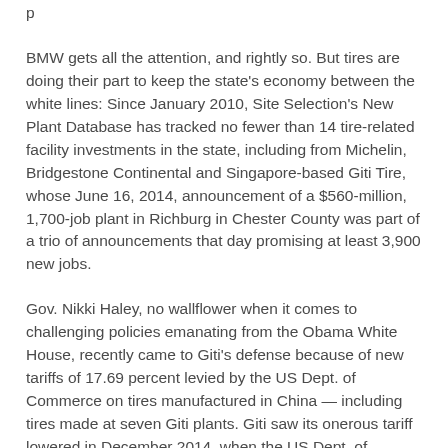p...
BMW gets all the attention, and rightly so. But tires are doing their part to keep the state's economy between the white lines: Since January 2010, Site Selection's New Plant Database has tracked no fewer than 14 tire-related facility investments in the state, including from Michelin, Bridgestone Continental and Singapore-based Giti Tire, whose June 16, 2014, announcement of a $560-million, 1,700-job plant in Richburg in Chester County was part of a trio of announcements that day promising at least 3,900 new jobs.
Gov. Nikki Haley, no wallflower when it comes to challenging policies emanating from the Obama White House, recently came to Giti's defense because of new tariffs of 17.69 percent levied by the US Dept. of Commerce on tires manufactured in China — including tires made at seven Giti plants. Giti saw its onerous tariff lowered in December 2014, when the US Dept. of Commerce cited errors in its calculations.
Ford Graham is South Carolina's director of international